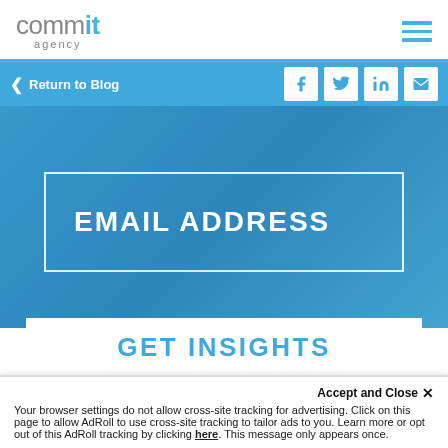[Figure (logo): Commit Agency logo - 'comm' in grey, 'it' in blue bold, 'agency' in small grey text below]
Return to Blog
[Figure (infographic): Blue hero background with a bordered white rectangle containing the text EMAIL ADDRESS in white bold uppercase]
GET INSIGHTS
Accept and Close ×
Your browser settings do not allow cross-site tracking for advertising. Click on this page to allow AdRoll to use cross-site tracking to tailor ads to you. Learn more or opt out of this AdRoll tracking by clicking here. This message only appears once.